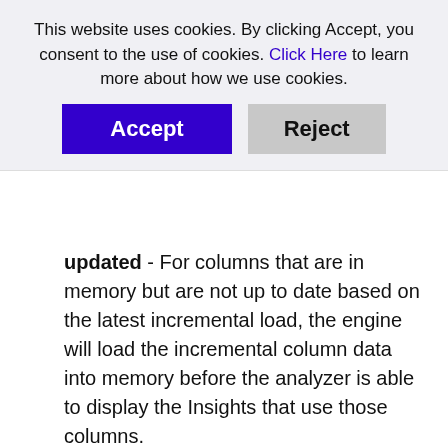This website uses cookies. By clicking Accept, you consent to the use of cookies. Click Here to learn more about how we use cookies.
updated - For columns that are in memory but are not up to date based on the latest incremental load, the engine will load the incremental column data into memory before the analyzer is able to display the Insights that use those columns.
Columns in memory - For columns that are already fully in memory, the analyzer will retrieve those columns needed for each of the Insights on the dashboard.